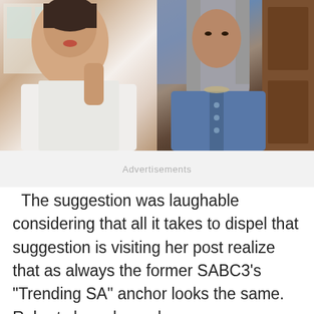[Figure (photo): Two side-by-side photos of women. Left photo shows a woman with reddish lips in a white top. Right photo shows a woman with long gray hair in a denim jacket.]
Advertisements
The suggestion was laughable considering that all it takes to dispel that suggestion is visiting her post realize that as always the former SABC3's "Trending SA" anchor looks the same. Roberts has always been a